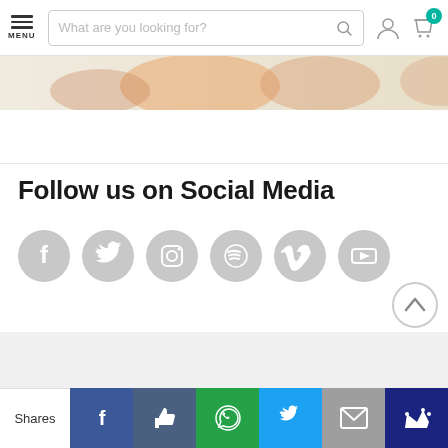MENU | What are you looking for? [search] [user] [cart 0]
[Figure (illustration): Partial banner image with decorative shapes/animals in beige/orange tones]
Follow us on Social Media
[Figure (infographic): Row of 6 gray social media icon circles: Facebook, Twitter, Instagram, Spotify, Vimeo, YouTube]
[Figure (other): Scroll to top chevron button (circle with upward arrow)]
[Figure (other): Chat bubble button (teal circle with three dots)]
Shares | Facebook | Like | WhatsApp | Twitter | Mail | Crown